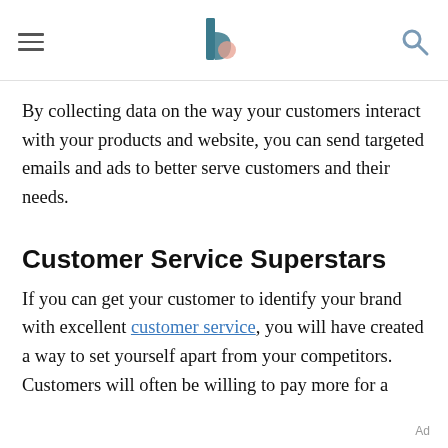[hamburger menu] [logo] [search icon]
By collecting data on the way your customers interact with your products and website, you can send targeted emails and ads to better serve customers and their needs.
Customer Service Superstars
If you can get your customer to identify your brand with excellent customer service, you will have created a way to set yourself apart from your competitors. Customers will often be willing to pay more for a
Ad